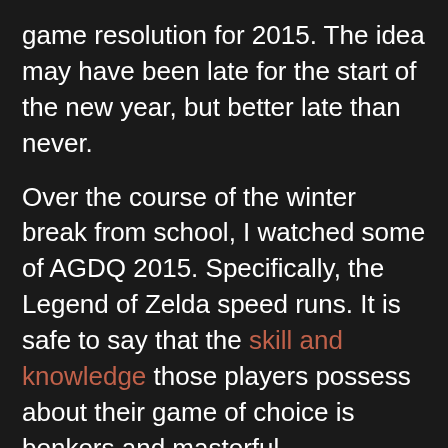game resolution for 2015. The idea may have been late for the start of the new year, but better late than never.
Over the course of the winter break from school, I watched some of AGDQ 2015. Specifically, the Legend of Zelda speed runs. It is safe to say that the skill and knowledge those players possess about their game of choice is bonkers and masterful.
Last year, I started learning to speed run the latest Zelda game, A Link Between Worlds. It is challenging and exciting to learn how to break a game to a point of mastery. I am nowhere close to mastery, but I have fun every time I pick up my 3DS to run it.